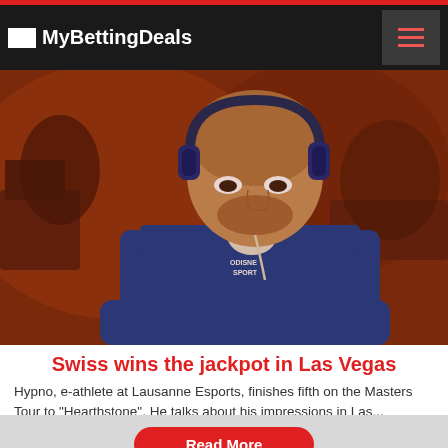MyBettingDeals
[Figure (photo): A man wearing headphones and a blue Adidas tracksuit jacket, looking down, seated at a table in what appears to be a casino or esports tournament setting with warm ambient lighting.]
Swiss wins the jackpot in Las Vegas
Hypno, e-athlete at Lausanne Esports, finishes fifth on the Masters Tour to "Hearthstone". He talks about his impressions in Las...
Read More